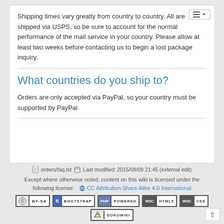Shipping times vary greatly from country to country. All are shipped via USPS, so be sure to account for the normal performance of the mail service in your country. Please allow at least two weeks before contacting us to begin a lost package inquiry.
What countries do you ship to?
Orders are only accepted via PayPal, so your country must be supported by PayPal.
orders/faq.txt  Last modified: 2015/08/09 21:45 (external edit)
Except where otherwise noted, content on this wiki is licensed under the following license: CC Attribution-Share Alike 4.0 International